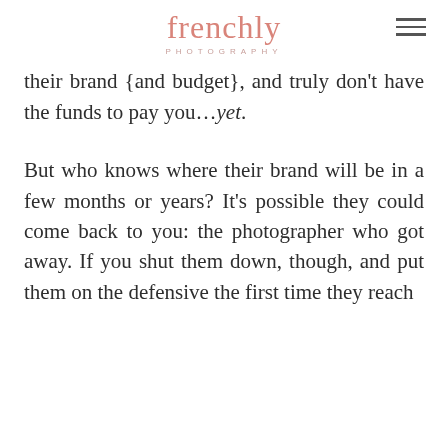frenchly PHOTOGRAPHY
their brand {and budget}, and truly don't have the funds to pay you…yet.
But who knows where their brand will be in a few months or years? It's possible they could come back to you: the photographer who got away. If you shut them down, though, and put them on the defensive the first time they reach